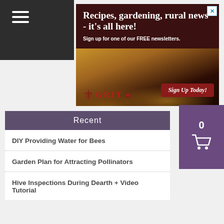[Figure (screenshot): Dark top navigation bar with hamburger menu icon (three white lines)]
[Figure (infographic): GRIT magazine advertisement banner: 'Recipes, gardening, rural news - it's all here! Sign up for one of our FREE newsletters.' with a lattice pie image and 'Sign Up Today!' button. Close (X) button in top right corner.]
[Figure (infographic): Purple shopping cart button showing count 0 and cart icon]
Recent
DIY Providing Water for Bees
Garden Plan for Attracting Pollinators
Hive Inspections During Dearth + Video Tutorial